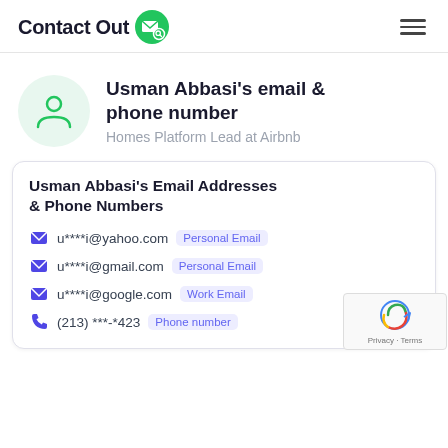ContactOut
Usman Abbasi's email & phone number
Homes Platform Lead at Airbnb
Usman Abbasi's Email Addresses & Phone Numbers
u****i@yahoo.com  Personal Email
u****i@gmail.com  Personal Email
u****i@google.com  Work Email
(213) ***-*423  Phone number